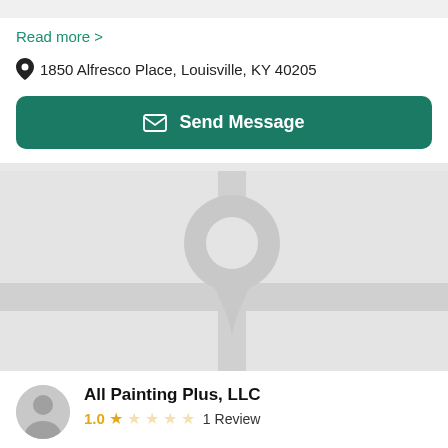Read more >
1850 Alfresco Place, Louisville, KY 40205
Send Message
[Figure (map): A placeholder map showing a road intersection with a large grey map-pin/location icon in the center on a light grey background.]
All Painting Plus, LLC
1.0 ★☆☆☆☆ 1 Review